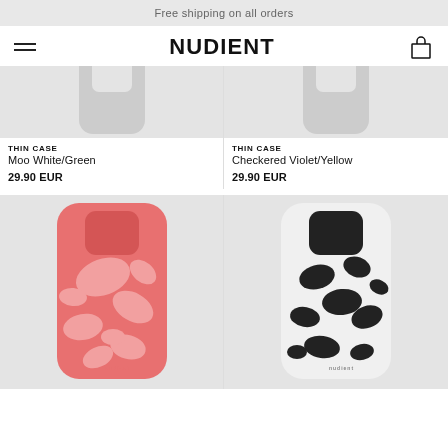Free shipping on all orders
NUDIENT
THIN CASE
Moo White/Green

29.90 EUR
THIN CASE
Checkered Violet/Yellow

29.90 EUR
[Figure (photo): Red swirl pattern iPhone thin case on light gray background]
[Figure (photo): Black and white cow print iPhone thin case on light gray background]